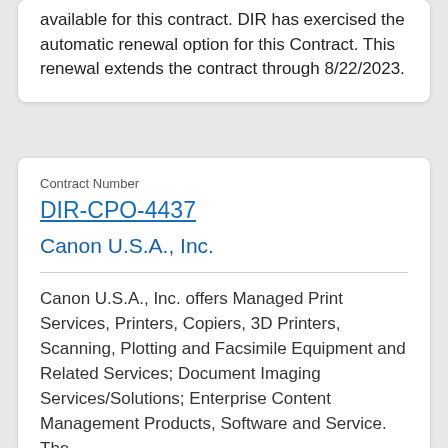available for this contract. DIR has exercised the automatic renewal option for this Contract. This renewal extends the contract through 8/22/2023.
Contract Number
DIR-CPO-4437
Canon U.S.A., Inc.
Canon U.S.A., Inc. offers Managed Print Services, Printers, Copiers, 3D Printers, Scanning, Plotting and Facsimile Equipment and Related Services; Document Imaging Services/Solutions; Enterprise Content Management Products, Software and Service. The